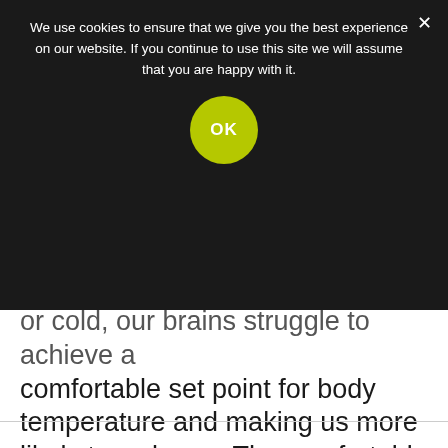We use cookies to ensure that we give you the best experience on our website. If you continue to use this site we will assume that you are happy with it.
OK
or cold, our brains struggle to achieve a comfortable set point for body temperature and making us more likely to wake up. The comfortable temperature and moist air affect the quality of REM (rapid eye movement), in which stage we dream.